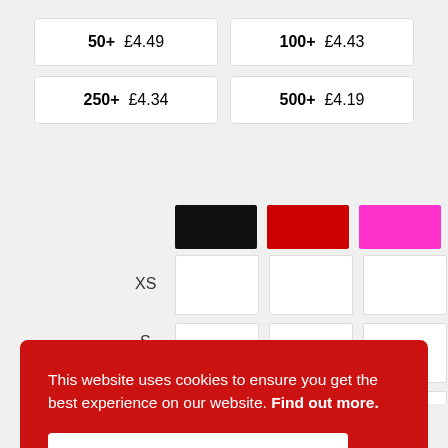| 50+  £4.49 | 100+  £4.43 |
| 250+  £4.34 | 500+  £4.19 |
[Figure (other): Color swatches: black, red, pink]
| (black) | (red) | (pink) |
| --- | --- | --- |
| XS |  |  |  |
| S |  |  |  |
| M |  |  |  |
This website uses cookies to ensure you get the best experience on our website. Find out more.
Accept Cookies
From £5.38 per item